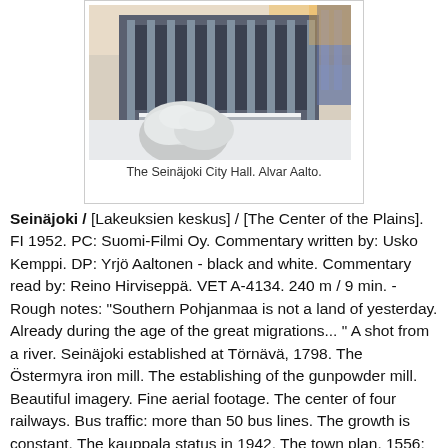[Figure (photo): Photograph of the Seinäjoki City Hall designed by Alvar Aalto, showing a modernist building covered in snow with snow-laden bushes in the foreground.]
The Seinäjoki City Hall. Alvar Aalto.
Seinäjoki / [Lakeuksien keskus] / [The Center of the Plains]. FI 1952. PC: Suomi-Filmi Oy. Commentary written by: Usko Kemppi. DP: Yrjö Aaltonen - black and white. Commentary read by: Reino Hirviseppä. VET A-4134. 240 m / 9 min. - Rough notes: "Southern Pohjanmaa is not a land of yesterday. Already during the age of the great migrations... " A shot from a river. Seinäjoki established at Törnävä, 1798. The Östermyra iron mill. The establishing of the gunpowder mill. Beautiful imagery. Fine aerial footage. The center of four railways. Bus traffic: more than 50 bus lines. The growth is constant. The kauppala status in 1942. The town plan. 1556: part of Ilmajoki. Jouppi, Mattila. Steady building in progress. Kansakoulu. Maanviljelysseura house. KOP bank house.